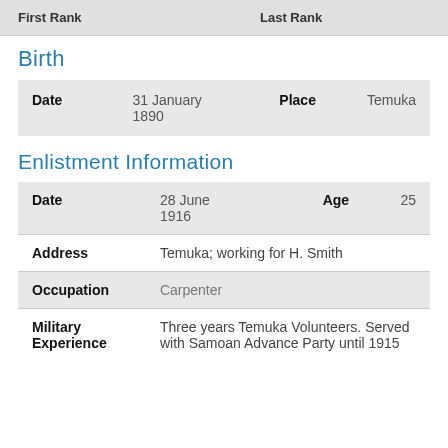| First Rank |  | Last Rank |
| --- | --- | --- |
|  |  |  |
Birth
| Date | 31 January 1890 | Place | Temuka |
Enlistment Information
| Date | 28 June 1916 | Age | 25 |
| Address | Temuka; working for H. Smith |  |  |
| Occupation | Carpenter |  |  |
| Military Experience | Three years Temuka Volunteers. Served with Samoan Advance Party until 1915 |  |  |